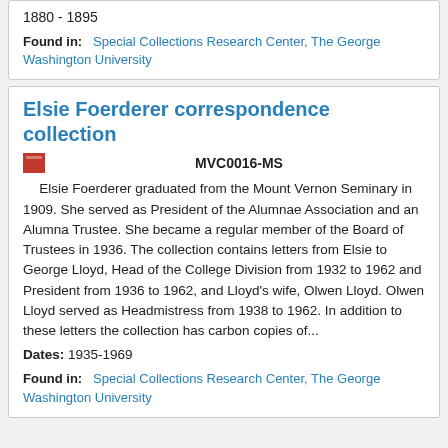1880 - 1895
Found in:   Special Collections Research Center, The George Washington University
Elsie Foerderer correspondence collection
MVC0016-MS
Elsie Foerderer graduated from the Mount Vernon Seminary in 1909. She served as President of the Alumnae Association and an Alumna Trustee. She became a regular member of the Board of Trustees in 1936. The collection contains letters from Elsie to George Lloyd, Head of the College Division from 1932 to 1962 and President from 1936 to 1962, and Lloyd's wife, Olwen Lloyd. Olwen Lloyd served as Headmistress from 1938 to 1962. In addition to these letters the collection has carbon copies of...
Dates: 1935-1969
Found in:   Special Collections Research Center, The George Washington University